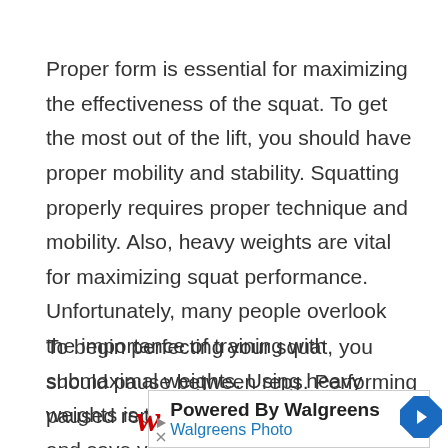Proper form is essential for maximizing the effectiveness of the squat. To get the most out of the lift, you should have proper mobility and stability. Squatting properly requires proper technique and mobility. Also, heavy weights are vital for maximizing squat performance. Unfortunately, many people overlook the importance of training with submaximal weights. Using heavy weights is the best way to build strength and save your joints.
To begin perfecting your squat, you should pause between reps. Performing paused reps will help you
[Figure (other): Advertisement banner: Powered By Walgreens - Walgreens Photo, with Walgreens W logo and directional arrow icon]